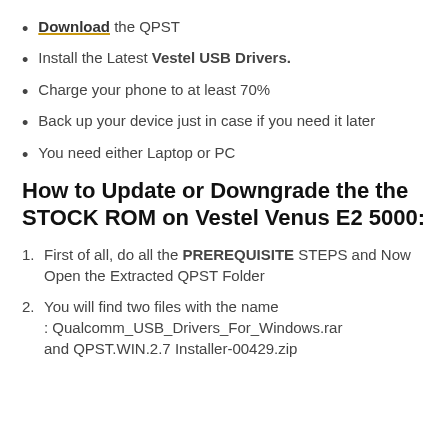Download the QPST
Install the Latest Vestel USB Drivers.
Charge your phone to at least 70%
Back up your device just in case if you need it later
You need either Laptop or PC
How to Update or Downgrade the the STOCK ROM on Vestel Venus E2 5000:
First of all, do all the PREREQUISITE STEPS and Now Open the Extracted QPST Folder
You will find two files with the name : Qualcomm_USB_Drivers_For_Windows.rar and QPST.WIN.2.7 Installer-00429.zip